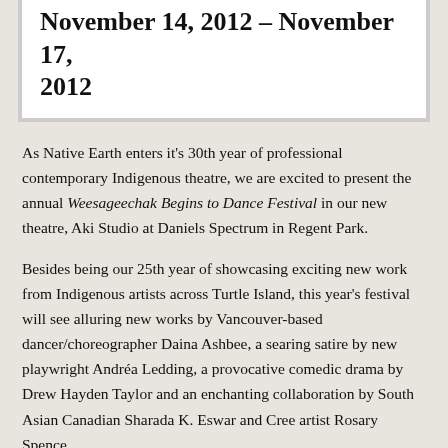November 14, 2012 – November 17, 2012
As Native Earth enters it's 30th year of professional contemporary Indigenous theatre, we are excited to present the annual Weesageechak Begins to Dance Festival in our new theatre, Aki Studio at Daniels Spectrum in Regent Park.
Besides being our 25th year of showcasing exciting new work from Indigenous artists across Turtle Island, this year's festival will see alluring new works by Vancouver-based dancer/choreographer Daina Ashbee, a searing satire by new playwright Andréa Ledding, a provocative comedic drama by Drew Hayden Taylor and an enchanting collaboration by South Asian Canadian Sharada K. Eswar and Cree artist Rosary Spence.